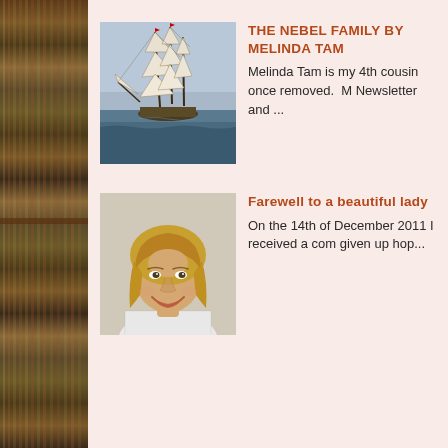[Figure (photo): Bookshelf sidebar with colorful book spines arranged vertically]
THE NEBEL FAMILY BY MELINDA TAM
Melinda Tam is my 4th cousin once removed.  N Newsletter and ...
[Figure (photo): Thumbnail image of a tall ship painting]
Farewell to a beautiful lady
On the 14th of December 2011 I received a com given up hop...
[Figure (photo): Portrait photo of a smiling blonde woman]